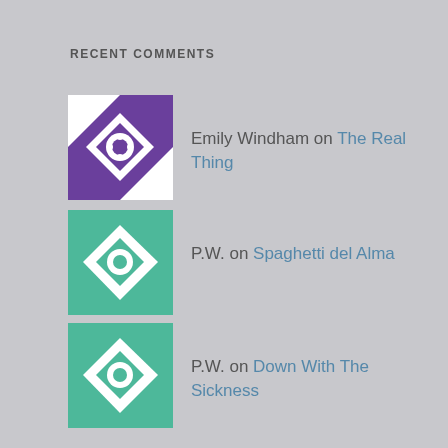RECENT COMMENTS
Emily Windham on The Real Thing
P.W. on Spaghetti del Alma
P.W. on Down With The Sickness
Spaghetti del Alma |... on The Monster & Mary-Elaine
The Monster & Ma... on A Young Lady Sings The Blues
ARCHIVES
November 2018